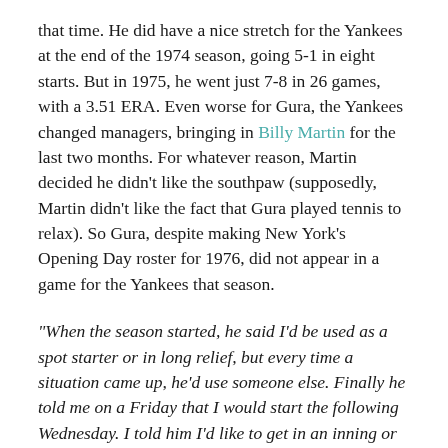that time. He did have a nice stretch for the Yankees at the end of the 1974 season, going 5-1 in eight starts. But in 1975, he went just 7-8 in 26 games, with a 3.51 ERA. Even worse for Gura, the Yankees changed managers, bringing in Billy Martin for the last two months. For whatever reason, Martin decided he didn't like the southpaw (supposedly, Martin didn't like the fact that Gura played tennis to relax). So Gura, despite making New York's Opening Day roster for 1976, did not appear in a game for the Yankees that season.
“When the season started, he said I’d be used as a spot starter or in long relief, but every time a situation came up, he’d use someone else. Finally he told me on a Friday that I would start the following Wednesday. I told him I’d like to get in an inning or two before that if the opportunity came up. That night